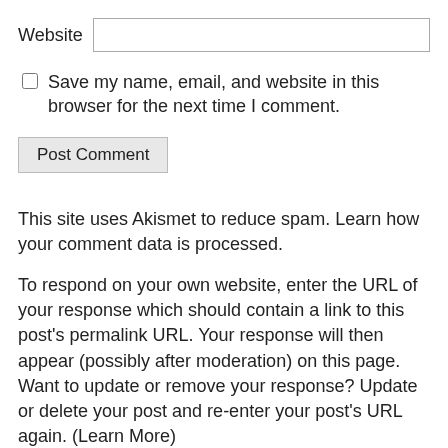Website [input field]
Save my name, email, and website in this browser for the next time I comment.
Post Comment
This site uses Akismet to reduce spam. Learn how your comment data is processed.
To respond on your own website, enter the URL of your response which should contain a link to this post's permalink URL. Your response will then appear (possibly after moderation) on this page. Want to update or remove your response? Update or delete your post and re-enter your post's URL again. (Learn More)
URL/Permalink of your article